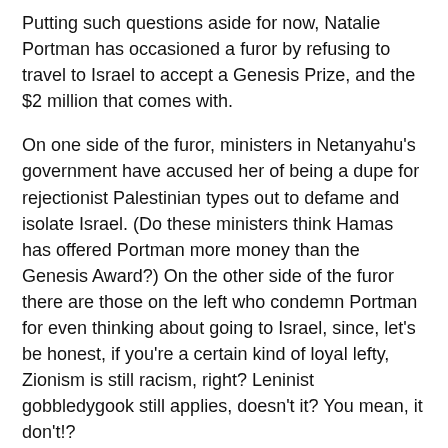Putting such questions aside for now, Natalie Portman has occasioned a furor by refusing to travel to Israel to accept a Genesis Prize, and the $2 million that comes with.
On one side of the furor, ministers in Netanyahu's government have accused her of being a dupe for rejectionist Palestinian types out to defame and isolate Israel. (Do these ministers think Hamas has offered Portman more money than the Genesis Award?) On the other side of the furor there are those on the left who condemn Portman for even thinking about going to Israel, since, let's be honest, if you're a certain kind of loyal lefty, Zionism is still racism, right? Leninist gobbledygook still applies, doesn't it? You mean, it don't!?
In the midst of this nasty but not unpredictable shit storm, Portman has opted to speak not through agents or representatives but for herself, as she does, very ably.
As per the Times:
"Let me speak for myself. . . I chose not to attend because I